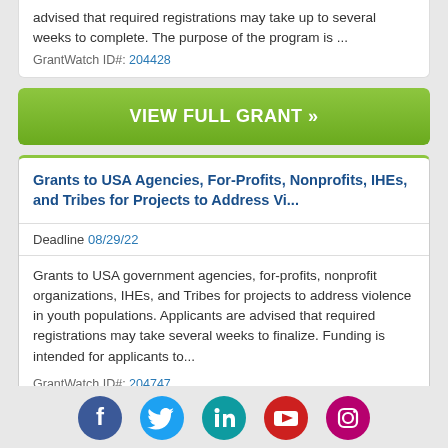advised that required registrations may take up to several weeks to complete. The purpose of the program is ...
GrantWatch ID#: 204428
VIEW FULL GRANT »
Grants to USA Agencies, For-Profits, Nonprofits, IHEs, and Tribes for Projects to Address Vi...
Deadline 08/29/22
Grants to USA government agencies, for-profits, nonprofit organizations, IHEs, and Tribes for projects to address violence in youth populations. Applicants are advised that required registrations may take several weeks to finalize. Funding is intended for applicants to...
GrantWatch ID#: 204747
[Figure (infographic): Social media icons row: Facebook (dark blue), Twitter (blue), LinkedIn (teal), YouTube (red), Instagram (pink/purple)]